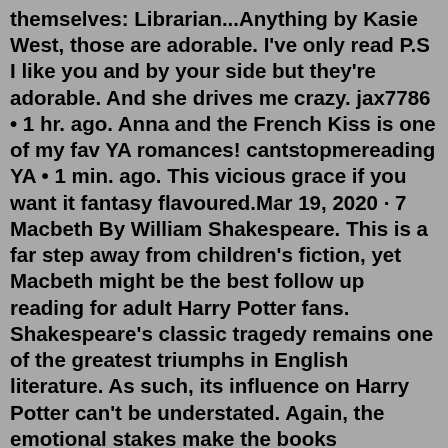themselves: Librarian...Anything by Kasie West, those are adorable. I've only read P.S I like you and by your side but they're adorable. And she drives me crazy. jax7786 • 1 hr. ago. Anna and the French Kiss is one of my fav YA romances! cantstopmereading YA • 1 min. ago. This vicious grace if you want it fantasy flavoured.Mar 19, 2020 · 7 Macbeth By William Shakespeare. This is a far step away from children's fiction, yet Macbeth might be the best follow up reading for adult Harry Potter fans. Shakespeare's classic tragedy remains one of the greatest triumphs in English literature. As such, its influence on Harry Potter can't be understated. Again, the emotional stakes make the books appealing to a wide swath of readers of all ages. By some market estimates, nearly 70 percent of all YA titles are purchased by adults between the ages of 18 and 64. Of course, some of those are parents, but, assuming that the majority of actual young adults, who are old enough to make their own book ...Oct 04, 2021 · Sherlock Holmes